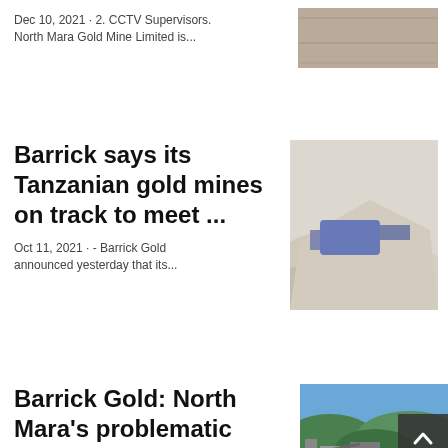Dec 10, 2021 · 2. CCTV Supervisors. North Mara Gold Mine Limited is...
[Figure (photo): Close-up photo of wooden surface or flooring texture]
Barrick says its Tanzanian gold mines on track to meet ...
Oct 11, 2021 · - Barrick Gold announced yesterday that its...
[Figure (photo): Photo of mining equipment and crushed stone/gravel at a mine site]
Barrick Gold: North Mara's problematic grievance mechanism
[Figure (photo): Photo of North Mara gold mine with green hills and industrial equipment]